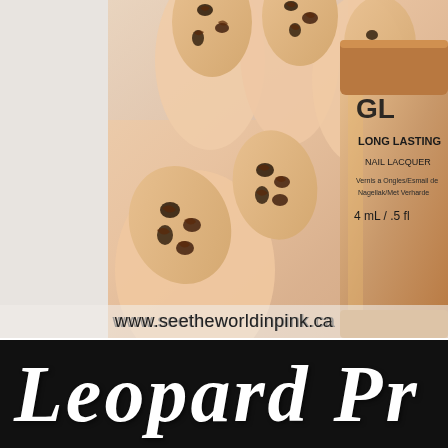[Figure (photo): Close-up photo of a hand with peach/salmon colored nails painted with leopard print pattern in dark brown/black. A bottle of nail lacquer (appears to be CND Gel or similar brand) is partially visible on the right side, labeled 'LONG LASTING NAIL LACQUER' with multilingual text. Background is light gray/white on the left side.]
www.seetheworldinpink.ca
Leopard Pr...